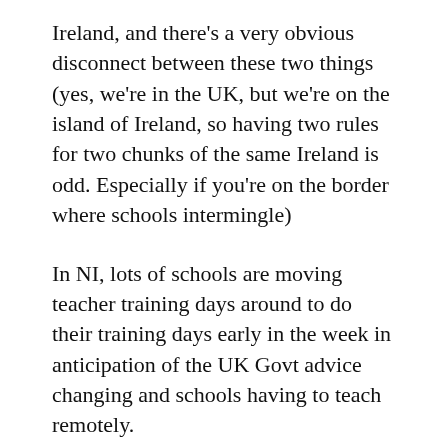Ireland, and there's a very obvious disconnect between these two things (yes, we're in the UK, but we're on the island of Ireland, so having two rules for two chunks of the same Ireland is odd. Especially if you're on the border where schools intermingle)
In NI, lots of schools are moving teacher training days around to do their training days early in the week in anticipation of the UK Govt advice changing and schools having to teach remotely.
Should that happen (and I think it's pretty certain, our kids are due back to school as normal on Wednesday and I doubt very much